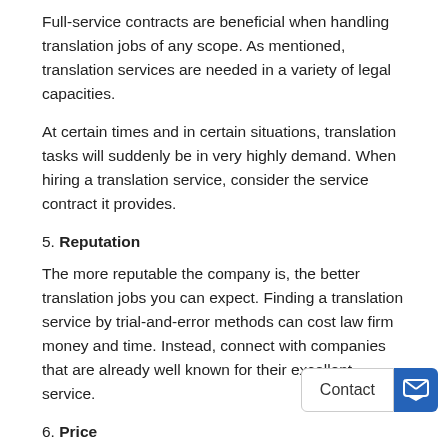Full-service contracts are beneficial when handling translation jobs of any scope. As mentioned, translation services are needed in a variety of legal capacities.
At certain times and in certain situations, translation tasks will suddenly be in very highly demand. When hiring a translation service, consider the service contract it provides.
5. Reputation
The more reputable the company is, the better translation jobs you can expect. Finding a translation service by trial-and-error methods can cost law firm money and time. Instead, connect with companies that are already well known for their excellent service.
6. Price
As a law firm identifies documents and tasks that require